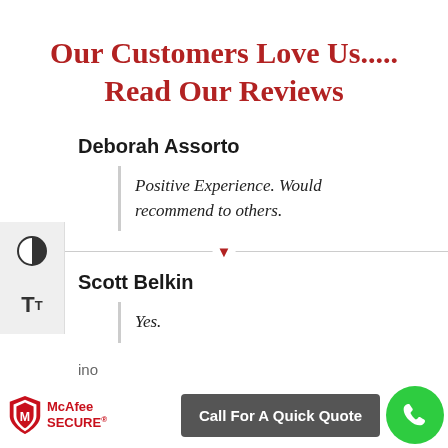Our Customers Love Us..... Read Our Reviews
Deborah Assorto
Positive Experience. Would recommend to others.
Scott Belkin
Yes.